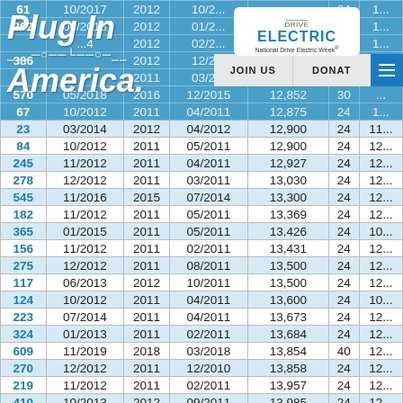[Figure (logo): Plug In America logo with white italic text and car icon outline]
[Figure (logo): Drive Electric / National Drive Electric Week badge with green plug icon]
| ID | Date1 | Year | Date2 | Value | N | Extra |
| --- | --- | --- | --- | --- | --- | --- |
| 61 | 10/2017 | 2012 | 10/2... |  | 24 | 1... |
| 362 | 06/2013 | 2012 | 01/2... |  | 24 | 1... |
| ... | ...4 | 2012 | 02/2... |  | 24 | 1... |
| 386 | ... | 2012 | 12/2... |  |  |  |
| ... | ... | 2011 | 03/2... |  |  |  |
| 570 | 05/2018 | 2016 | 12/2015 | 12,852 | 30 | ... |
| 67 | 10/2012 | 2011 | 04/2011 | 12,875 | 24 | 1... |
| 23 | 03/2014 | 2012 | 04/2012 | 12,900 | 24 | 11... |
| 84 | 10/2012 | 2011 | 05/2011 | 12,900 | 24 | 12... |
| 245 | 11/2012 | 2011 | 04/2011 | 12,927 | 24 | 12... |
| 278 | 12/2012 | 2011 | 03/2011 | 13,030 | 24 | 12... |
| 545 | 11/2016 | 2015 | 07/2014 | 13,300 | 24 | 12... |
| 182 | 11/2012 | 2011 | 05/2011 | 13,369 | 24 | 12... |
| 365 | 01/2015 | 2011 | 05/2011 | 13,426 | 24 | 10... |
| 156 | 11/2012 | 2011 | 02/2011 | 13,431 | 24 | 12... |
| 275 | 12/2012 | 2011 | 08/2011 | 13,500 | 24 | 12... |
| 117 | 06/2013 | 2012 | 10/2011 | 13,500 | 24 | 12... |
| 124 | 10/2012 | 2011 | 04/2011 | 13,600 | 24 | 10... |
| 223 | 07/2014 | 2011 | 04/2011 | 13,673 | 24 | 12... |
| 324 | 01/2013 | 2011 | 02/2011 | 13,684 | 24 | 12... |
| 609 | 11/2019 | 2018 | 03/2018 | 13,854 | 40 | 12... |
| 270 | 12/2012 | 2011 | 12/2010 | 13,858 | 24 | 12... |
| 219 | 11/2012 | 2011 | 02/2011 | 13,957 | 24 | 12... |
| 410 | 10/2013 | 2012 | 09/2011 | 13,985 | 24 | 12... |
| 331 | 01/2013 | 2011 | 03/2011 | 14,000 | 24 | 10... |
| 133 | 11/2012 | 2011 | 06/2011 | 14,000 | 24 | 12... |
| 357 | 06/2013 | 2012 | 10/2011 | 14,000 | 24 | 12... |